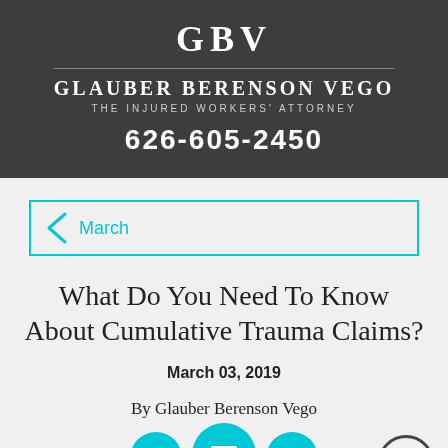GBV
GLAUBER BERENSON VEGO
THE INJURED WORKERS' ATTORNEY
626-605-2450
March
What Do You Need To Know About Cumulative Trauma Claims?
March 03, 2019
By Glauber Berenson Vego